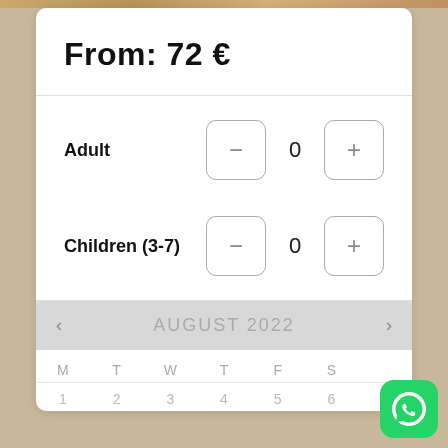From: 72 €
Adult
Children (3-7)
AUGUST 2022
M  T  W  T  F  S
1  2  3  4  5  6
[Figure (screenshot): WhatsApp button icon, green rounded square with white phone/chat logo]